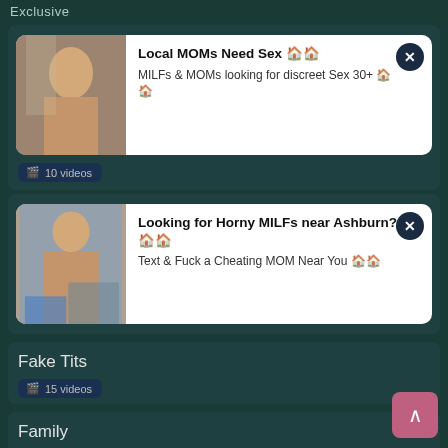Exclusive
[Figure (photo): Ad card with woman photo: Local MOMs Need Sex. MILFs & MOMs looking for discreet Sex 30+]
10 videos
[Figure (photo): Ad card with woman photo: Looking for Horny MILFs near Ashburn? Text & Fuck a Cheating MOM Near You]
Fake Tits
15 videos
Family
84 videos